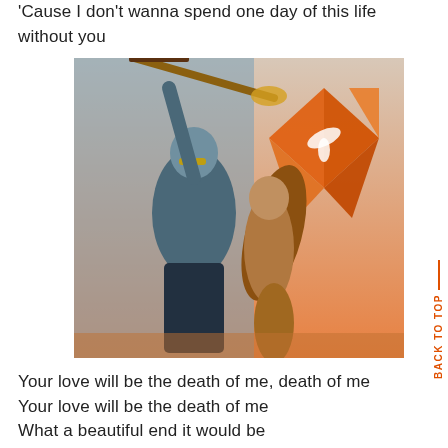'Cause I don't wanna spend one day of this life without you
[Figure (photo): Two people posing: a person in a blue hoodie and yellow sunglasses holding a guitar overhead, and a woman with long hair leaning back, with an orange geometric heart logo in the background.]
Your love will be the death of me, death of me
Your love will be the death of me
What a beautiful end it would be